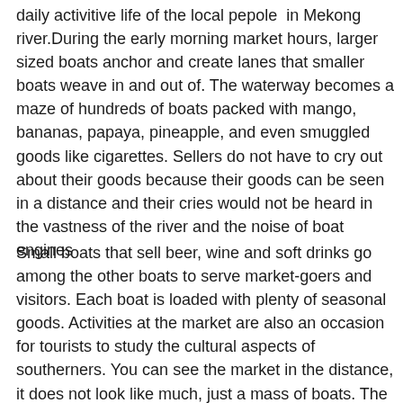daily activitive life of the local pepole  in Mekong river.During the early morning market hours, larger sized boats anchor and create lanes that smaller boats weave in and out of. The waterway becomes a maze of hundreds of boats packed with mango, bananas, papaya, pineapple, and even smuggled goods like cigarettes. Sellers do not have to cry out about their goods because their goods can be seen in a distance and their cries would not be heard in the vastness of the river and the noise of boat engines
Small boats that sell beer, wine and soft drinks go among the other boats to serve market-goers and visitors. Each boat is loaded with plenty of seasonal goods. Activities at the market are also an occasion for tourists to study the cultural aspects of southerners. You can see the market in the distance, it does not look like much, just a mass of boats. The boats all display their wares on a mast so you can see what they have available.
Lunch on the way to back Chau Doc Town and  Overnight in Chau Doc.